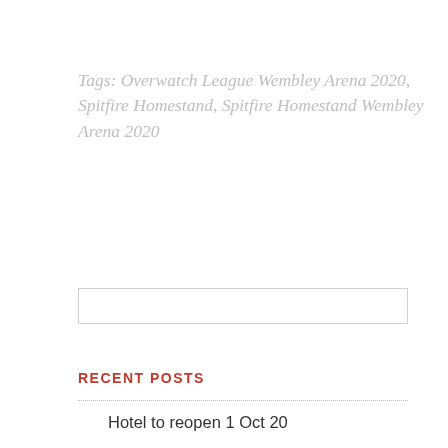Tags: Overwatch League Wembley Arena 2020, Spitfire Homestand, Spitfire Homestand Wembley Arena 2020
[Figure (other): Search input box (empty text field)]
RECENT POSTS
Hotel to reopen 1 Oct 20